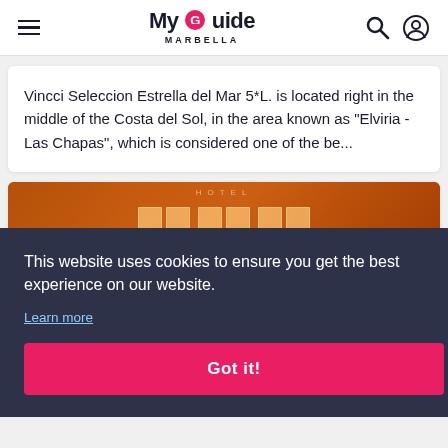My Guide Marbella
Vincci Seleccion Estrella del Mar 5*L. is located right in the middle of the Costa del Sol, in the area known as "Elviria - Las Chapas", which is considered one of the be...
[Figure (photo): Hotel facade with orange-lit windows at night]
This website uses cookies to ensure you get the best experience on our website.
Learn more
Got it!